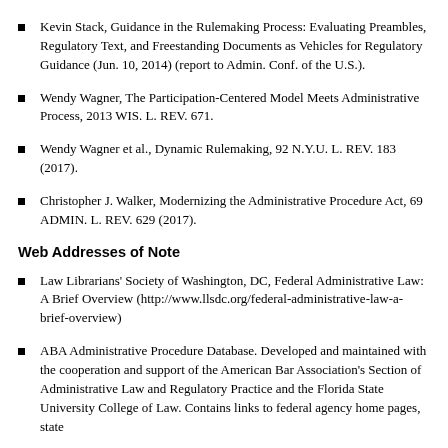Kevin Stack, Guidance in the Rulemaking Process: Evaluating Preambles, Regulatory Text, and Freestanding Documents as Vehicles for Regulatory Guidance (Jun. 10, 2014) (report to Admin. Conf. of the U.S.).
Wendy Wagner, The Participation-Centered Model Meets Administrative Process, 2013 WIS. L. REV. 671.
Wendy Wagner et al., Dynamic Rulemaking, 92 N.Y.U. L. REV. 183 (2017).
Christopher J. Walker, Modernizing the Administrative Procedure Act, 69 ADMIN. L. REV. 629 (2017).
Web Addresses of Note
Law Librarians' Society of Washington, DC, Federal Administrative Law: A Brief Overview (http://www.llsdc.org/federal-administrative-law-a-brief-overview)
ABA Administrative Procedure Database. Developed and maintained with the cooperation and support of the American Bar Association's Section of Administrative Law and Regulatory Practice and the Florida State University College of Law. Contains links to federal agency home pages, state...